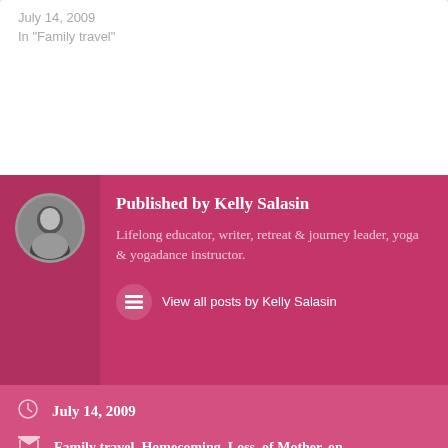July 14, 2009
In "Family travel"
Published by Kelly Salasin
Lifelong educator, writer, retreat & journey leader, yoga & yogadance instructor.
View all posts by Kelly Salasin
July 14, 2009
Family travel, Homecoming, Loss, of Mother, on
Advertisements
[Figure (screenshot): DuckDuckGo advertisement banner: orange background with text 'Search, browse, and email with more privacy. All in One Free App' and DuckDuckGo logo on dark background]